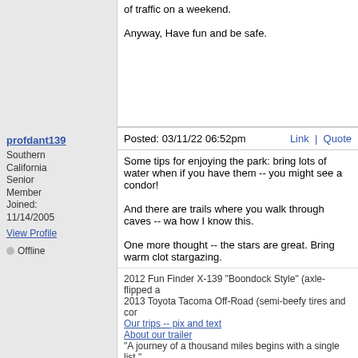of traffic on a weekend.

Anyway, Have fun and be safe.
profdant139
Southern California
Senior Member
Joined: 11/14/2005
View Profile
Offline
Posted: 03/11/22 06:52pm
Link | Quote
Some tips for enjoying the park: bring lots of water when if you have them -- you might see a condor!

And there are trails where you walk through caves -- wa how I know this.

One more thought -- the stars are great. Bring warm clot stargazing.
2012 Fun Finder X-139 "Boondock Style" (axle-flipped a
2013 Toyota Tacoma Off-Road (semi-beefy tires and cor
Our trips -- pix and text
About our trailer
"A journey of a thousand miles begins with a single list."
[Figure (photo): Outdoor landscape photo showing mountains with snow-capped peaks in the background, yellow/green trees in the middle distance, and a white trailer/RV parked in a field under a blue sky with clouds.]